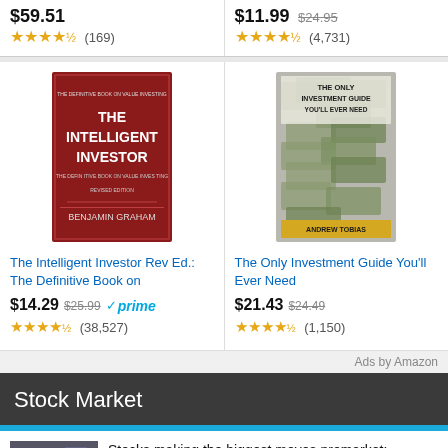$59.51 ★★★★½ (169)
$11.99 $24.95 ★★★★½ (4,731)
[Figure (illustration): Book cover of The Intelligent Investor by Benjamin Graham, red cover]
The Intelligent Investor Rev Ed.: The Definitive Book on
$14.29 $25.99 ✓prime (38,527)
[Figure (illustration): Book cover of The Only Investment Guide You'll Ever Need by Andrew Tobias, money/cash background]
The Only Investment Guide You'll Ever Need
$21.43 $24.49 ★★★★½ (1,150)
Ads by Amazon
Stock Market
[Figure (photo): News thumbnail showing people/traders]
Stocks making the biggest moves premarket: Electronic Arts, Gap, Ulta Beauty and more